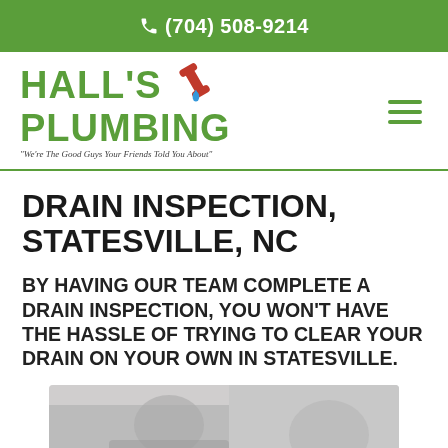(704) 508-9214
[Figure (logo): Hall's Plumbing logo with wrench icon and tagline 'We're The Good Guys Your Friends Told You About']
DRAIN INSPECTION, STATESVILLE, NC
BY HAVING OUR TEAM COMPLETE A DRAIN INSPECTION, YOU WON'T HAVE THE HASSLE OF TRYING TO CLEAR YOUR DRAIN ON YOUR OWN IN STATESVILLE.
[Figure (photo): Photo of plumbing drain inspection work being performed]